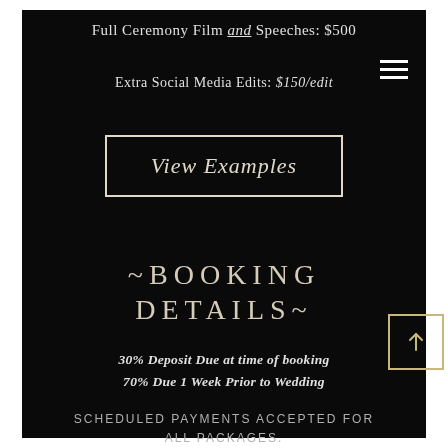Full Ceremony Film and Speeches: $500
Extra Social Media Edits: $150/edit
View Examples
~BOOKING DETAILS~
30% Deposit Due at time of booking
70% Due 1 Week Prior to Wedding
SCHEDULED PAYMENTS ACCEPTED FOR ALL PACKAGES.
All Films and Footage Will Be Delivered via Download Link or Flashdrive.